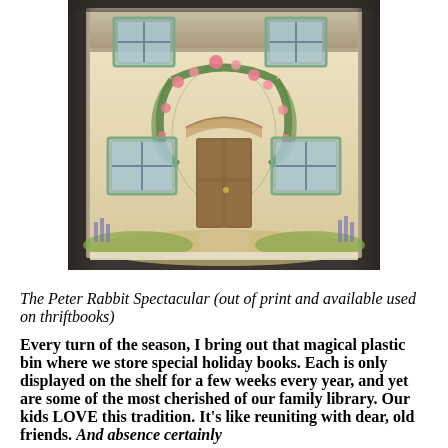[Figure (photo): A photograph of The Peter Rabbit Spectacular pop-up or decorative 3D house book, showing a charming English cottage facade with flowers, green window frames, a wooden door with an arched floral trellis, and garden surroundings.]
The Peter Rabbit Spectacular (out of print and available used on thriftbooks)
Every turn of the season, I bring out that magical plastic bin where we store special holiday books. Each is only displayed on the shelf for a few weeks every year, and yet are some of the most cherished of our family library. Our kids LOVE this tradition. It's like reuniting with dear, old friends. And absence certainly